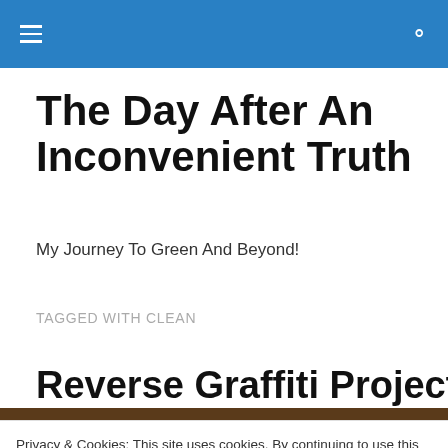The Day After An Inconvenient Truth — site header bar
The Day After An Inconvenient Truth
My Journey To Green And Beyond!
TAGGED WITH CLEAN
Reverse Graffiti Project Dot
Privacy & Cookies: This site uses cookies. By continuing to use this website, you agree to their use.
To find out more, including how to control cookies, see here: Cookie Policy
Close and accept